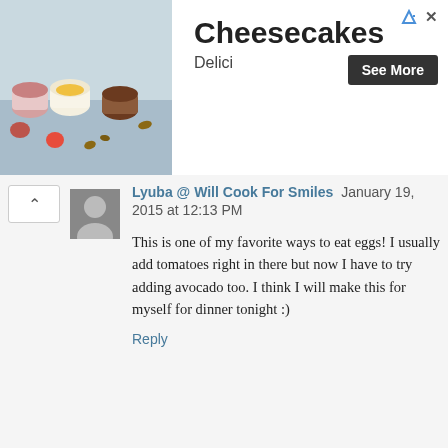[Figure (photo): Ad banner showing cheesecakes and desserts in jars on a table]
Cheesecakes
Delici
See More
Lyuba @ Will Cook For Smiles  January 19, 2015 at 12:13 PM
This is one of my favorite ways to eat eggs! I usually add tomatoes right in there but now I have to try adding avocado too. I think I will make this for myself for dinner tonight :)
Reply
▾ Replies
Mike @TheIronYou  January 20, 2015 at 9:25 AM
I love having tomatoes on the side, not in the